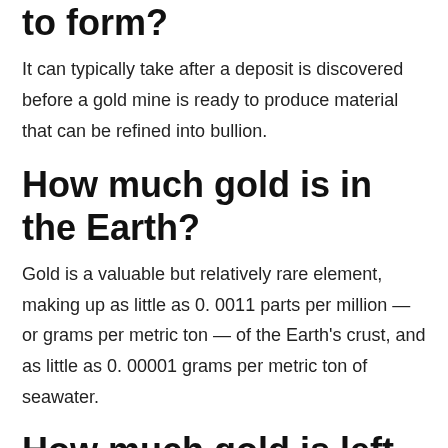to form?
It can typically take after a deposit is discovered before a gold mine is ready to produce material that can be refined into bullion.
How much gold is in the Earth?
Gold is a valuable but relatively rare element, making up as little as 0. 0011 parts per million — or grams per metric ton — of the Earth's crust, and as little as 0. 00001 grams per metric ton of seawater.
How much gold is left to